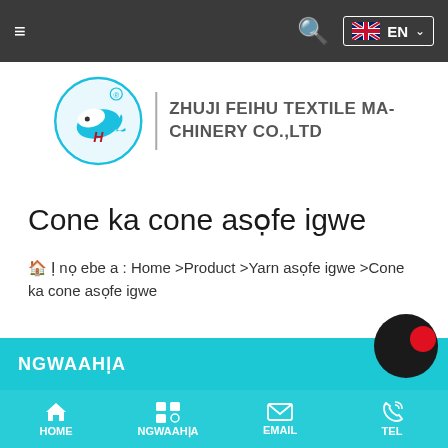Navigation bar with hamburger menu, search icon, and EN language selector
[Figure (logo): Zhuji Feihu Textile Machinery Co.,Ltd logo with a blue circle containing a flying bird/fish and stylized H, with company name in text]
Cone ka cone asọfe igwe
🏠 Ị nọ ebe a : Home >Product >Yarn asọfe igwe >Cone ka cone asọfe igwe
NGWAAHỊA
HOME   NGWAAHỊA   EMAIL   TEL